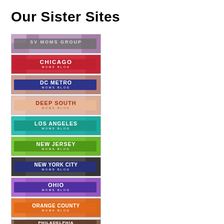Our Sister Sites
[Figure (illustration): SV Moms Group banner logo with patterned background and gray center label]
[Figure (illustration): Chicago Moms Blog banner logo with red center label]
[Figure (illustration): DC Metro Moms Blog banner logo with dark blue center label]
[Figure (illustration): Deep South Moms Blog banner logo with salmon/peach center label]
[Figure (illustration): Los Angeles Moms Blog banner logo with teal center label]
[Figure (illustration): New Jersey Moms Blog banner logo with green center label]
[Figure (illustration): New York City Moms Blog banner logo with navy blue center label]
[Figure (illustration): Ohio Moms Blog banner logo with purple center label]
[Figure (illustration): Orange County Moms Blog banner logo with orange center label]
[Figure (illustration): Philadelphia Moms Blog banner logo partially visible at bottom]